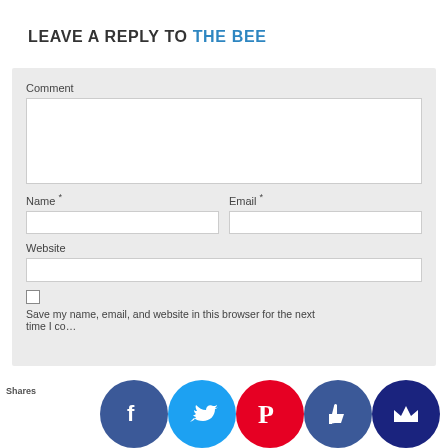LEAVE A REPLY TO THE BEE
Comment
Name *
Email *
Website
Save my name, email, and website in this browser for the next time I comment.
[Figure (screenshot): Social sharing bar with Facebook, Twitter, Pinterest, thumbs-up, and crown icon buttons, and a 'Shares' label]